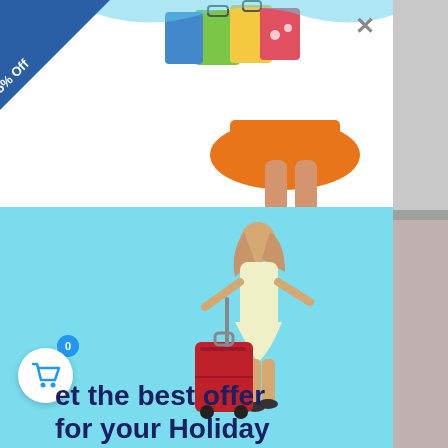[Figure (photo): Screenshot of a shopping/travel promotional popup. Top half shows a woman in orange skirt carrying colorful shopping bags with '25% Off' ribbon banner in top-left corner and an X close button in top-right. Bottom half has light blue background with a woman in white dress pulling red luggage suitcase. At the bottom left is a shopping cart icon with badge showing 0. Text reads 'et the best offer for your Holiday']
25% Off
Get the best offer for your Holiday